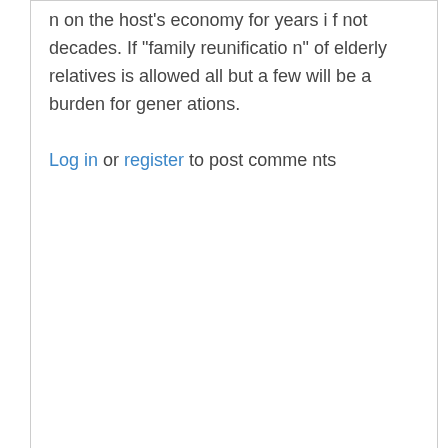n on the host's economy for years if not decades. If "family reunification" of elderly relatives is allowed all but a few will be a burden for generations.
Log in or register to post comments
Outlaw09
Sun, 11/20/2016 - 2:46am
Permalink
Ah.....an article right out of the "Post Truth era" that has a number of serous underlying flaws both in historical facts and current events.....and to tear them apart point by point is testament on just how far "Post Truth" has come since Crimea...no actually since Georgia and Moldavia.